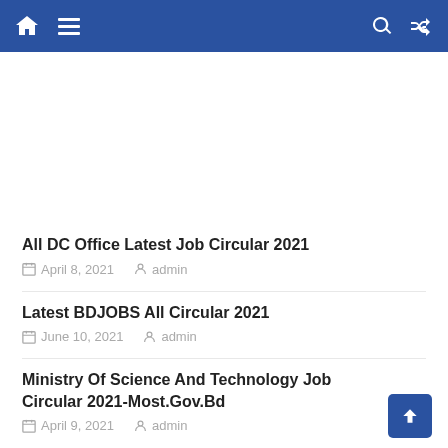Navigation bar with home, menu, search, and shuffle icons
All DC Office Latest Job Circular 2021
April 8, 2021   admin
Latest BDJOBS All Circular 2021
June 10, 2021   admin
Ministry Of Science And Technology Job Circular 2021-Most.Gov.Bd
April 9, 2021   admin